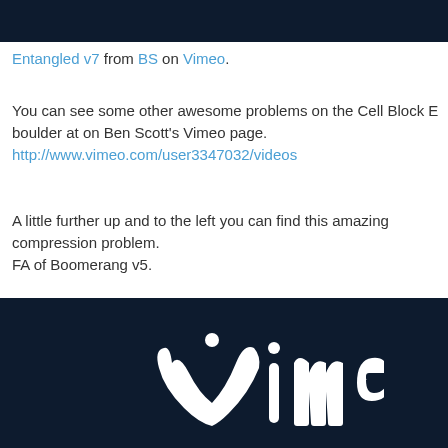[Figure (screenshot): Dark navy blue rectangle at top of page, appears to be a video player or dark banner]
Entangled v7 from BS on Vimeo.
You can see some other awesome problems on the Cell Block E boulder at on Ben Scott's Vimeo page.
http://www.vimeo.com/user3347032/videos
A little further up and to the left you can find this amazing compression problem.
FA of Boomerang v5.
[Figure (screenshot): Dark navy blue rectangle showing Vimeo logo in white text on dark background]